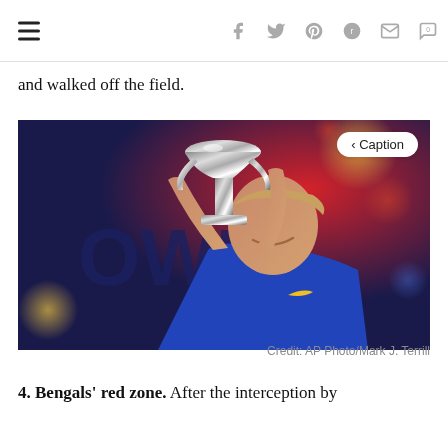≡  f  t  p  reddit  mail  0
and walked off the field.
[Figure (photo): A smiling man in a blue jersey holding up the Vince Lombardi Trophy (Super Bowl trophy) with both hands. The background is blurred with colorful bokeh lights. A 'Caption' button is visible in the top right of the image.]
Credit: AP Photo/Mark J. Terrill
4. Bengals' red zone. After the interception by